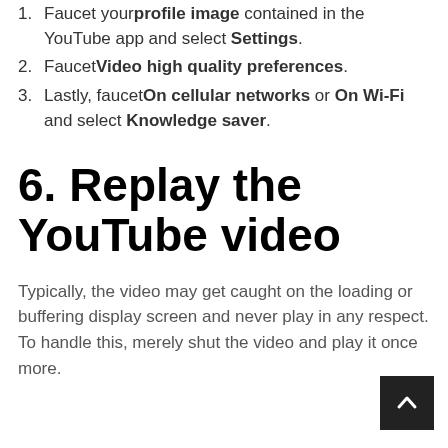Faucet your profile image contained in the YouTube app and select Settings.
Faucet Video high quality preferences.
Lastly, faucet On cellular networks or On Wi-Fi and select Knowledge saver.
6. Replay the YouTube video
Typically, the video may get caught on the loading or buffering display screen and never play in any respect. To handle this, merely shut the video and play it once more.